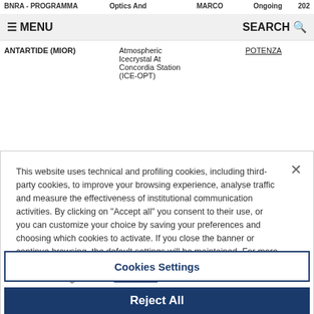BNRA - PROGRAMMA | Optics And | MARCO | Ongoing | 202
≡ MENU    SEARCH 🔍
ANTARTIDE (MIOR)
Atmospheric Icecrystal At Concordia Station (ICE-OPT)
POTENZA
This website uses technical and profiling cookies, including third-party cookies, to improve your browsing experience, analyse traffic and measure the effectiveness of institutional communication activities. By clicking on "Accept all" you consent to their use, or you can customize your choice by saving your preferences and choosing which cookies to activate. If you close the banner or continue browsing, the default settings will be maintained. For more information and to learn how to manage cookies, click on the "Cookie settings" button. Full notice
Cookies Settings
Reject All